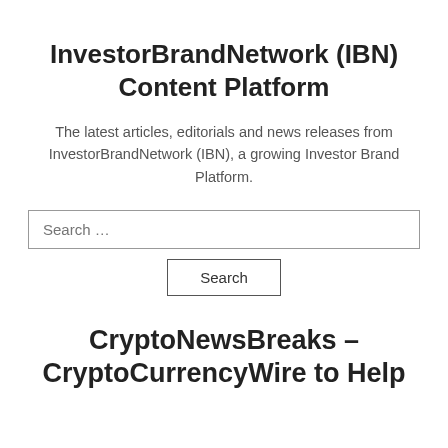InvestorBrandNetwork (IBN) Content Platform
The latest articles, editorials and news releases from InvestorBrandNetwork (IBN), a growing Investor Brand Platform.
CryptoNewsBreaks – CryptoCurrencyWire to Help Advance Bitcoin and Its ...